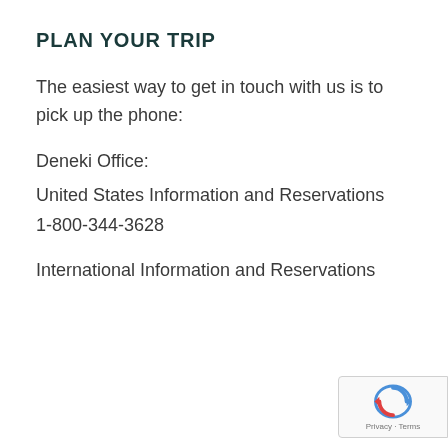PLAN YOUR TRIP
The easiest way to get in touch with us is to pick up the phone:
Deneki Office:
United States Information and Reservations
1-800-344-3628
International Information and Reservations